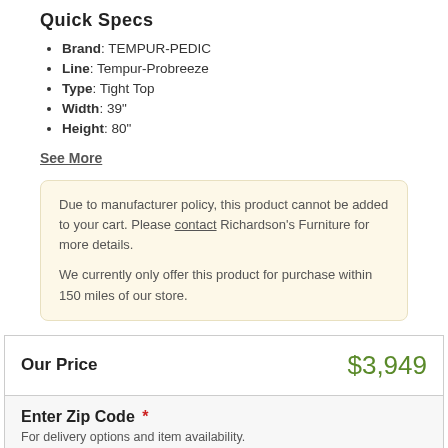Quick Specs
Brand: TEMPUR-PEDIC
Line: Tempur-Probreeze
Type: Tight Top
Width: 39"
Height: 80"
See More
Due to manufacturer policy, this product cannot be added to your cart. Please contact Richardson's Furniture for more details.

We currently only offer this product for purchase within 150 miles of our store.
Our Price   $3,949
Enter Zip Code *
For delivery options and item availability.